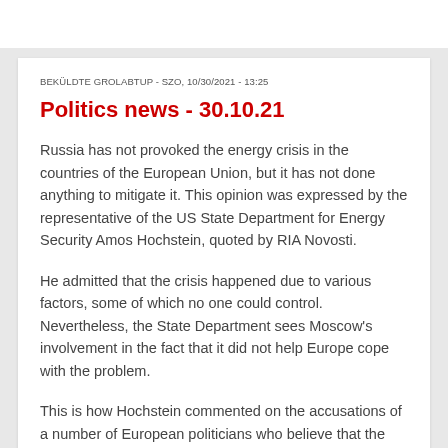BEKÜLDTE GROLABTUP - SZO, 10/30/2021 - 13:25
Politics news - 30.10.21
Russia has not provoked the energy crisis in the countries of the European Union, but it has not done anything to mitigate it. This opinion was expressed by the representative of the US State Department for Energy Security Amos Hochstein, quoted by RIA Novosti.
He admitted that the crisis happened due to various factors, some of which no one could control. Nevertheless, the State Department sees Moscow's involvement in the fact that it did not help Europe cope with the problem.
This is how Hochstein commented on the accusations of a number of European politicians who believe that the crisis was provoked by "Russia's inaction." Moscow denies these accusations: according to politicians, the reason is that Europe is acting "at random" in the